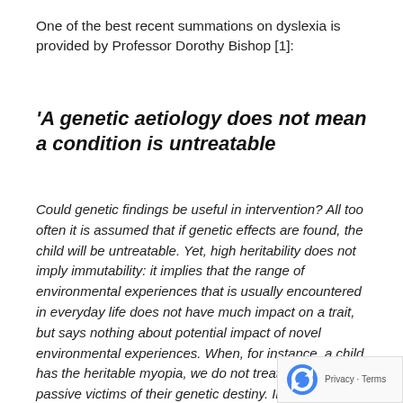One of the best recent summations on dyslexia is provided by Professor Dorothy Bishop [1]:
'A genetic aetiology does not mean a condition is untreatable
Could genetic findings be useful in intervention? All too often it is assumed that if genetic effects are found, the child will be untreatable. Yet, high heritability does not imply immutability: it implies that the range of environmental experiences that is usually encountered in everyday life does not have much impact on a trait, but says nothing about potential impact of novel environmental experiences. When, for instance, a child has the heritable myopia, we do not treat them as passive victims of their genetic destiny. Instead, they are given spectacles: an intervention that is out- side the range of normal environmental experiences, but which is tailored to coun... the genetic effect. Similar logic can be applied in the case of